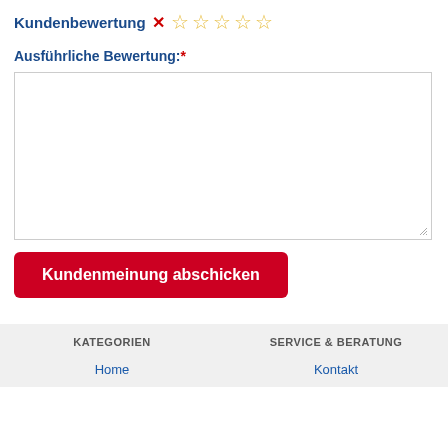Kundenbewertung
Ausführliche Bewertung:*
[Figure (other): Empty textarea input box for review text]
Kundenmeinung abschicken
KATEGORIEN | SERVICE & BERATUNG | Home | Kontakt